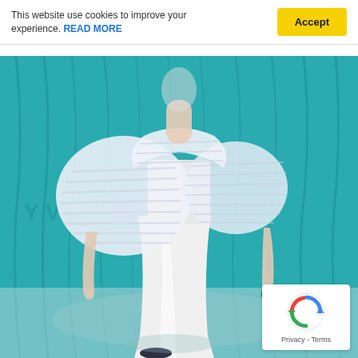This website use cookies to improve your experience. READ MORE
[Figure (photo): Fashion runway photo of a model wearing a white structured gown with large puffed organza sleeves/bodice overlay and a sleek white skirt, photographed against a teal/turquoise draped backdrop.]